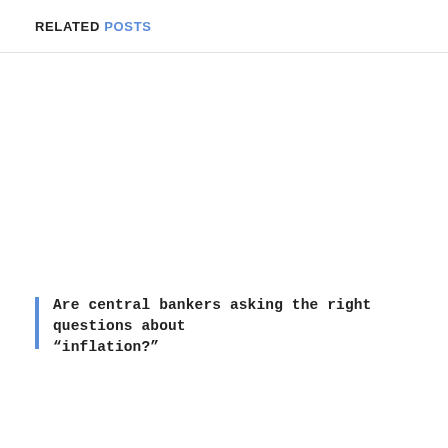RELATED POSTS
Are central bankers asking the right questions about “inflation?”